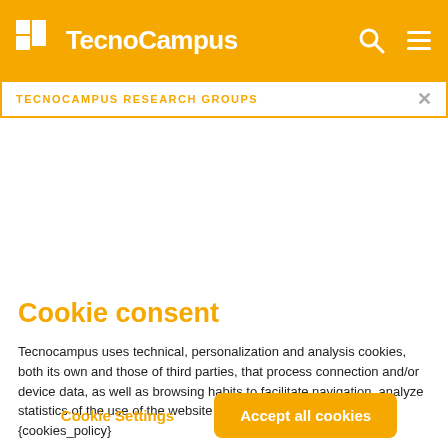TecnoCampus
TECNOCAMPUS RESEARCH GROUPS
Cookie consent
Tecnocampus uses technical, personalization and analysis cookies, both its own and those of third parties, that process connection and/or device data, as well as browsing habits to facilitate navigation, analyze statistics of the use of the website and personalize advertising. {cookies_policy}